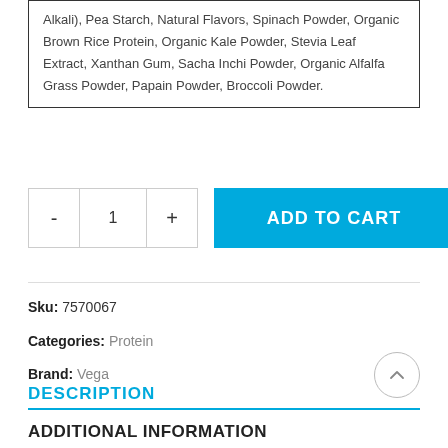Alkali), Pea Starch, Natural Flavors, Spinach Powder, Organic Brown Rice Protein, Organic Kale Powder, Stevia Leaf Extract, Xanthan Gum, Sacha Inchi Powder, Organic Alfalfa Grass Powder, Papain Powder, Broccoli Powder.
- 1 + ADD TO CART
Sku: 7570067
Categories: Protein
Brand: Vega
DESCRIPTION
ADDITIONAL INFORMATION